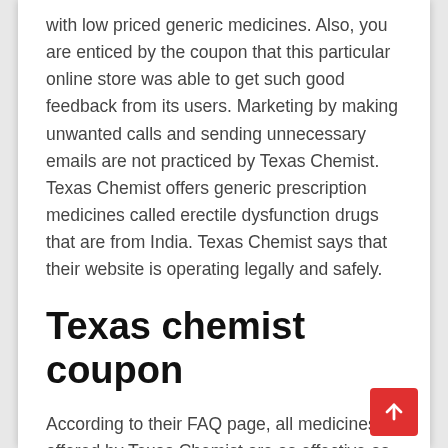with low priced generic medicines. Also, you are enticed by the coupon that this particular online store was able to get such good feedback from its users. Marketing by making unwanted calls and sending unnecessary emails are not practiced by Texas Chemist. Texas Chemist offers generic prescription medicines called erectile dysfunction drugs that are from India. Texas Chemist says that their website is operating legally and safely.
Texas chemist coupon
According to their FAQ page, all medicines offered by Texas Chemist are as effective as its branded counterparts are. A coupon code is a